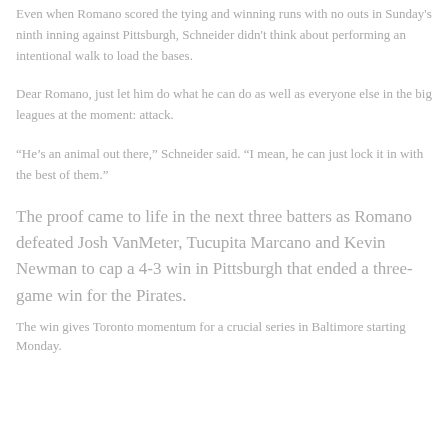Even when Romano scored the tying and winning runs with no outs in Sunday's ninth inning against Pittsburgh, Schneider didn't think about performing an intentional walk to load the bases.
Dear Romano, just let him do what he can do as well as everyone else in the big leagues at the moment: attack.
“He's an animal out there,” Schneider said. “I mean, he can just lock it in with the best of them.”
The proof came to life in the next three batters as Romano defeated Josh VanMeter, Tucupita Marcano and Kevin Newman to cap a 4-3 win in Pittsburgh that ended a three-game win for the Pirates.
The win gives Toronto momentum for a crucial series in Baltimore starting Monday.